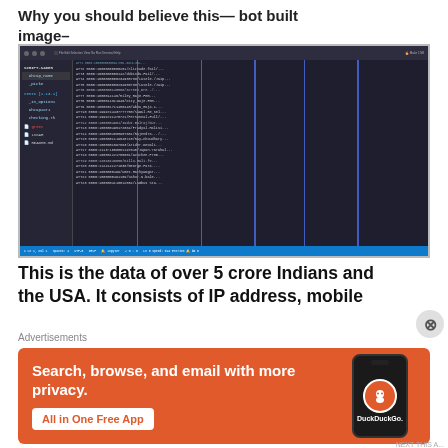Why you should believe this— bot built image—
[Figure (screenshot): Screenshot of VS Code editor showing a dark-themed IDE with a file explorer sidebar on the left containing project files (ahcup_name, _picke, _in_option1, ahcup1or1, checking, greet, LICAH, README.md), and a large data table in the main panel with rows of data including IDs, phone numbers, names, email addresses, and location data. Blue vertical lines are drawn across the data columns highlighting specific column separators.]
This is the data of over 5 crore Indians and the USA. It consists of IP address, mobile
Advertisements
[Figure (illustration): DuckDuckGo advertisement banner with orange background. Left side shows white bold text: 'Search, browse, and email with more privacy. All in One Free App' with a white button. Right side shows a smartphone displaying the DuckDuckGo logo (orange circle with duck icon). Bottom of phone shows 'DuckDuckGo.' text in white.]